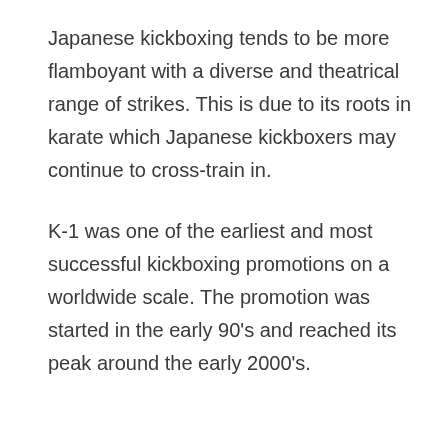Japanese kickboxing tends to be more flamboyant with a diverse and theatrical range of strikes. This is due to its roots in karate which Japanese kickboxers may continue to cross-train in.
K-1 was one of the earliest and most successful kickboxing promotions on a worldwide scale. The promotion was started in the early 90's and reached its peak around the early 2000's.